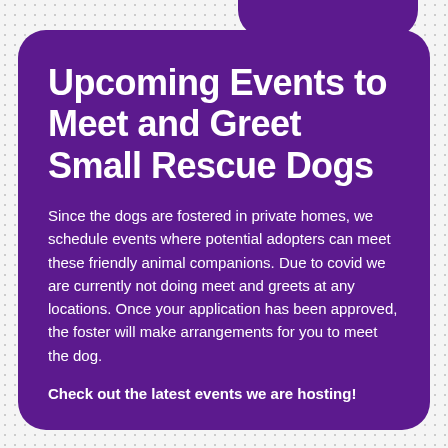Upcoming Events to Meet and Greet Small Rescue Dogs
Since the dogs are fostered in private homes, we schedule events where potential adopters can meet these friendly animal companions. Due to covid we are currently not doing meet and greets at any locations. Once your application has been approved, the foster will make arrangements for you to meet the dog.
Check out the latest events we are hosting!